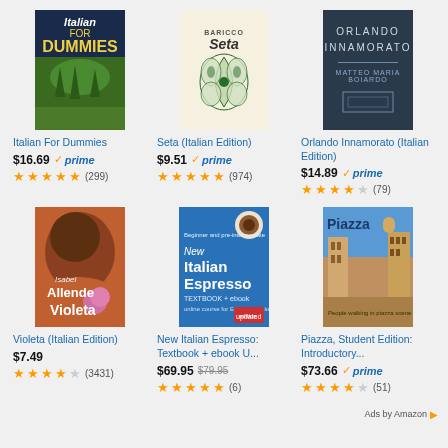[Figure (illustration): Book cover: Italian For Dummies - dark blue and green landscape]
Italian For Dummies
$16.69 prime (299 reviews, 4.5 stars)
[Figure (illustration): Book cover: Seta (Italian Edition) - butterfly on cream background]
Seta (Italian Edition)
$9.51 prime (974 reviews, 4.5 stars)
[Figure (illustration): Book cover: Orlando Innamorato (Italian Edition) - dark navy cover]
Orlando Innamorato (Italian Edition)
$14.89 prime (79 reviews, 3.5 stars)
[Figure (illustration): Book cover: Violeta (Italian Edition) - woman with dark hair and rose]
Violeta (Italian Edition)
$7.49 (3431 reviews, 3.5 stars)
[Figure (illustration): Book cover: New Italian Espresso: Textbook + ebook Updated Edition]
New Italian Espresso: Textbook + ebook U...
$69.95 (was $79.95) (6 reviews, 5 stars)
[Figure (illustration): Book cover: Piazza, Student Edition: Introductory... - piazza scene]
Piazza, Student Edition: Introductory...
$73.66 prime (51 reviews, 3.5 stars)
Ads by Amazon